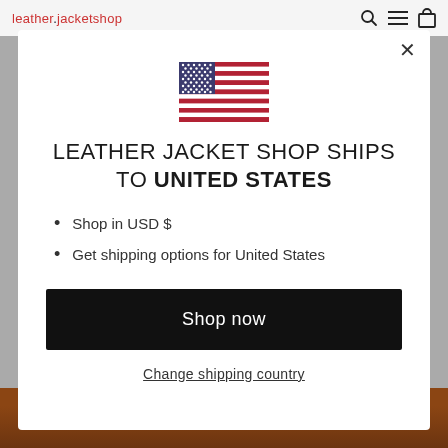leather.jacketshop
[Figure (illustration): US flag icon — rectangular flag with blue canton containing white stars and red/white horizontal stripes]
LEATHER JACKET SHOP SHIPS TO UNITED STATES
Shop in USD $
Get shipping options for United States
Shop now
Change shipping country